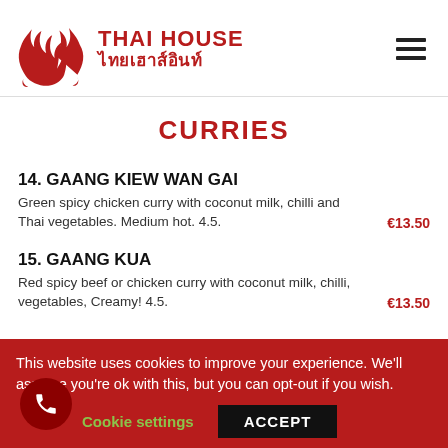[Figure (logo): Thai House restaurant logo with red stylized flame/crown symbol and text 'THAI HOUSE' in English and Thai script]
CURRIES
14. GAANG KIEW WAN GAI
Green spicy chicken curry with coconut milk, chilli and Thai vegetables. Medium hot. 4.5.
€13.50
15. GAANG KUA
Red spicy beef or chicken curry with coconut milk, chilli, vegetables, Creamy! 4.5.
€13.50
This website uses cookies to improve your experience. We'll assume you're ok with this, but you can opt-out if you wish.
Cookie settings  ACCEPT